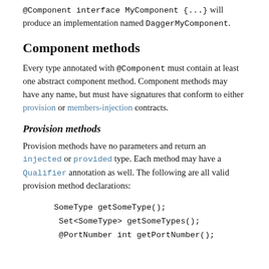@Component interface MyComponent {...} will produce an implementation named DaggerMyComponent.
Component methods
Every type annotated with @Component must contain at least one abstract component method. Component methods may have any name, but must have signatures that conform to either provision or members-injection contracts.
Provision methods
Provision methods have no parameters and return an injected or provided type. Each method may have a Qualifier annotation as well. The following are all valid provision method declarations:
SomeType getSomeType();
  Set<SomeType> getSomeTypes();
  @PortNumber int getPortNumber();